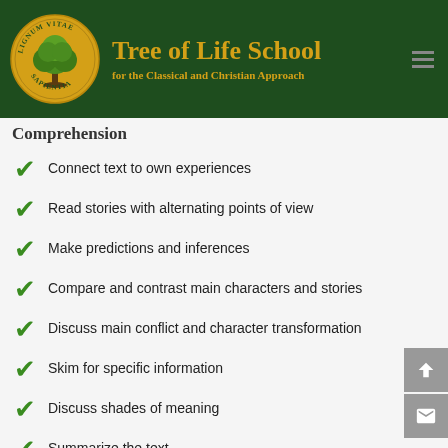Tree of Life School for the Classical and Christian Approach
Comprehension
Connect text to own experiences
Read stories with alternating points of view
Make predictions and inferences
Compare and contrast main characters and stories
Discuss main conflict and character transformation
Skim for specific information
Discuss shades of meaning
Summarize the text